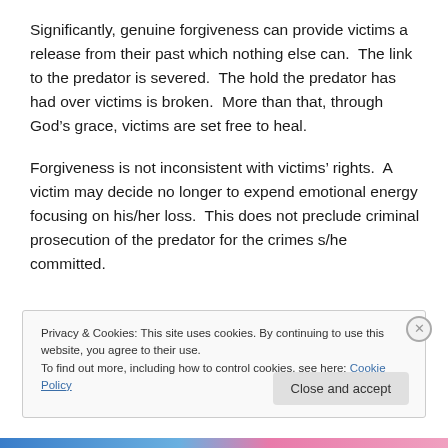Significantly, genuine forgiveness can provide victims a release from their past which nothing else can. The link to the predator is severed. The hold the predator has had over victims is broken. More than that, through God's grace, victims are set free to heal.
Forgiveness is not inconsistent with victims' rights. A victim may decide no longer to expend emotional energy focusing on his/her loss. This does not preclude criminal prosecution of the predator for the crimes s/he committed.
Privacy & Cookies: This site uses cookies. By continuing to use this website, you agree to their use.
To find out more, including how to control cookies, see here: Cookie Policy